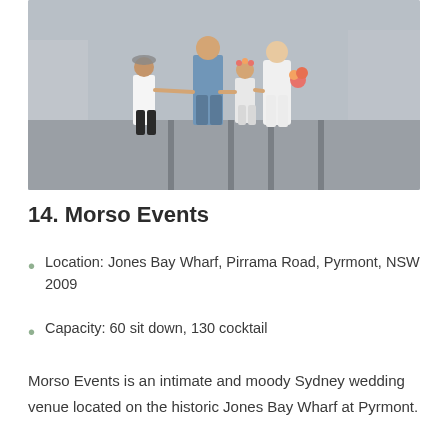[Figure (photo): Wedding photo of a couple with two children on a street with tram tracks. The groom wears a blue suit, the bride wears a white dress holding a bouquet. A boy in a white shirt and black pants leans to the side, and a girl in a white dress with a flower crown stands between them, all holding hands.]
14. Morso Events
Location: Jones Bay Wharf, Pirrama Road, Pyrmont, NSW 2009
Capacity: 60 sit down, 130 cocktail
Morso Events is an intimate and moody Sydney wedding venue located on the historic Jones Bay Wharf at Pyrmont.